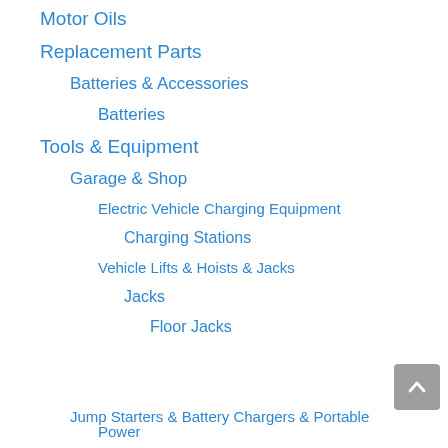Motor Oils
Replacement Parts
Batteries & Accessories
Batteries
Tools & Equipment
Garage & Shop
Electric Vehicle Charging Equipment
Charging Stations
Vehicle Lifts & Hoists & Jacks
Jacks
Floor Jacks
Jump Starters & Battery Chargers & Portable Power